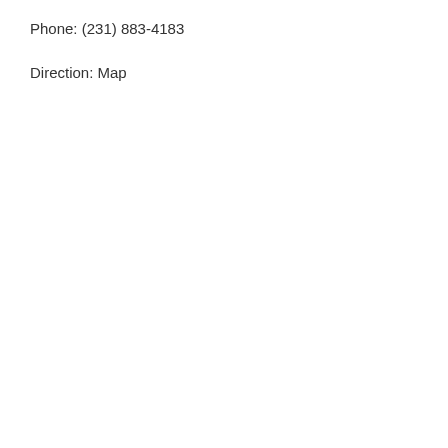Phone: (231) 883-4183
Direction: Map